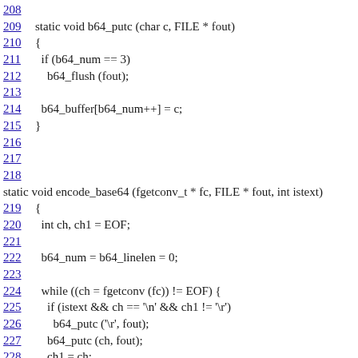Source code listing lines 208-231
208
209  static void b64_putc (char c, FILE * fout)
210  {
211    if (b64_num == 3)
212      b64_flush (fout);
213
214    b64_buffer[b64_num++] = c;
215  }
216
217
218
static void encode_base64 (fgetconv_t * fc, FILE * fout, int istext)
219  {
220    int ch, ch1 = EOF;
221
222    b64_num = b64_linelen = 0;
223
224    while ((ch = fgetconv (fc)) != EOF) {
225      if (istext && ch == '\n' && ch1 != '\r')
226        b64_putc ('\r', fout);
227      b64_putc (ch, fout);
228      ch1 = ch;
229    }
230    b64_flush (fout);
231    fputc ('\n', fout);